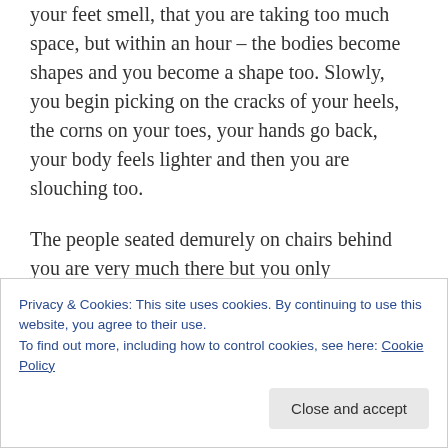your feet smell, that you are taking too much space, but within an hour – the bodies become shapes and you become a shape too. Slowly, you begin picking on the cracks of your heels, the corns on your toes, your hands go back, your body feels lighter and then you are slouching too.
The people seated demurely on chairs behind you are very much there but you only acknowledge them when you exit.
I spent the first five minutes adjusting bum, and a few minutes after that – looking for familiar shapes. Found a
Privacy & Cookies: This site uses cookies. By continuing to use this website, you agree to their use.
To find out more, including how to control cookies, see here: Cookie Policy